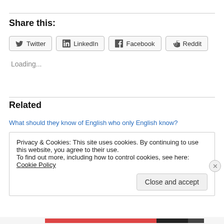Share this:
[Figure (other): Social share buttons: Twitter, LinkedIn, Facebook, Reddit]
Loading...
Related
What should they know of English who only English know?
Privacy & Cookies: This site uses cookies. By continuing to use this website, you agree to their use.
To find out more, including how to control cookies, see here: Cookie Policy
Close and accept